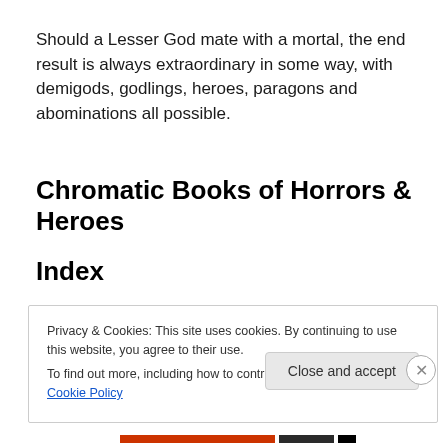Should a Lesser God mate with a mortal, the end result is always extraordinary in some way, with demigods, godlings, heroes, paragons and abominations all possible.
Chromatic Books of Horrors & Heroes
Index
Privacy & Cookies: This site uses cookies. By continuing to use this website, you agree to their use.
To find out more, including how to control cookies, see here: Cookie Policy